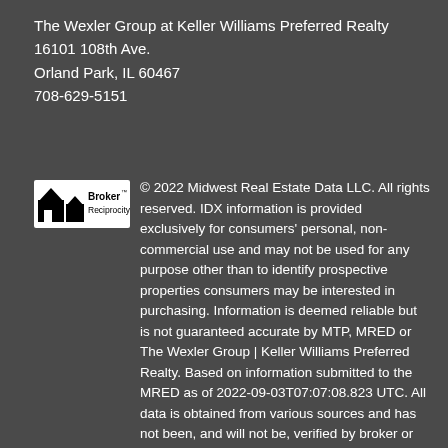The Wexler Group at Keller Williams Preferred Realty
16101 108th Ave.
Orland Park, IL 60467
708-629-5151
© 2022 Midwest Real Estate Data LLC. All rights reserved. IDX information is provided exclusively for consumers' personal, non-commercial use and may not be used for any purpose other than to identify prospective properties consumers may be interested in purchasing. Information is deemed reliable but is not guaranteed accurate by MTP, MRED or The Wexler Group | Keller Williams Preferred Realty. Based on information submitted to the MRED as of 2022-09-03T07:07:08.823 UTC. All data is obtained from various sources and has not been, and will not be, verified by broker or MRED. MRED supplied Open House information is subject to change without notice. All information should be independently reviewed and verified for accuracy. Properties may or may not be listed by the office/agent presenting the information. Some properties which